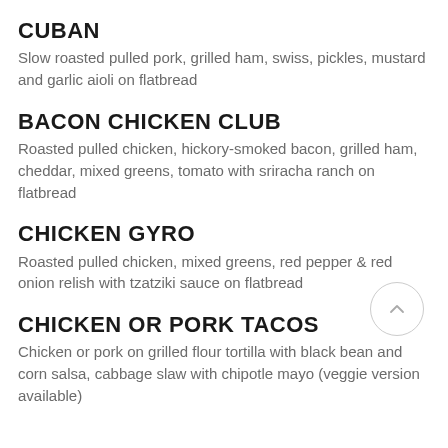CUBAN
Slow roasted pulled pork, grilled ham, swiss, pickles, mustard and garlic aioli on flatbread
BACON CHICKEN CLUB
Roasted pulled chicken, hickory-smoked bacon, grilled ham, cheddar, mixed greens, tomato with sriracha ranch on flatbread
CHICKEN GYRO
Roasted pulled chicken, mixed greens, red pepper & red onion relish with tzatziki sauce on flatbread
CHICKEN OR PORK TACOS
Chicken or pork on grilled flour tortilla with black bean and corn salsa, cabbage slaw with chipotle mayo (veggie version available)